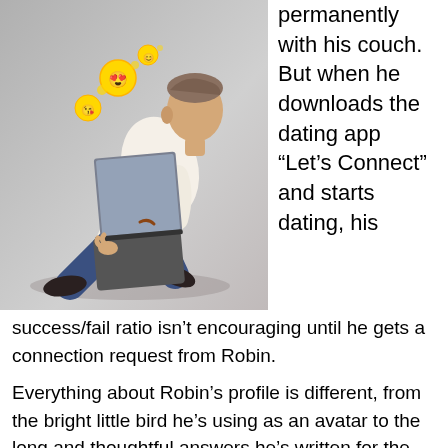[Figure (photo): A man sitting on the floor using a laptop, with heart-eyes and kissing-face emoji floating above the laptop screen. The background is a grey gradient.]
permanently with his couch. But when he downloads the dating app “Let’s Connect” and starts dating, his success/fail ratio isn’t encouraging until he gets a connection request from Robin.
Everything about Robin’s profile is different, from the bright little bird he’s using as an avatar to the long and thoughtful answers he’s written for the standard questions. He’s witty, funny, and easy to talk to. Robin